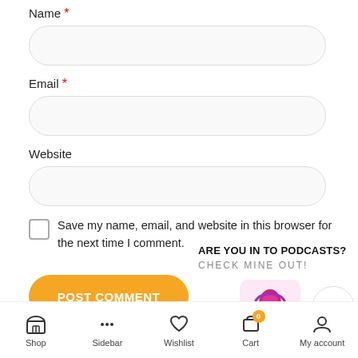Name *
[Figure (screenshot): Empty rounded input field for Name]
Email *
[Figure (screenshot): Empty rounded input field for Email]
Website
[Figure (screenshot): Empty rounded input field for Website]
Save my name, email, and website in this browser for the next time I comment.
ARE YOU IN TO PODCASTS?
CHECK MINE OUT!
POST COMMENT
[Figure (illustration): Pink and purple podcast microphone icon on a pink background square]
Shop  Sidebar  Wishlist  Cart  My account